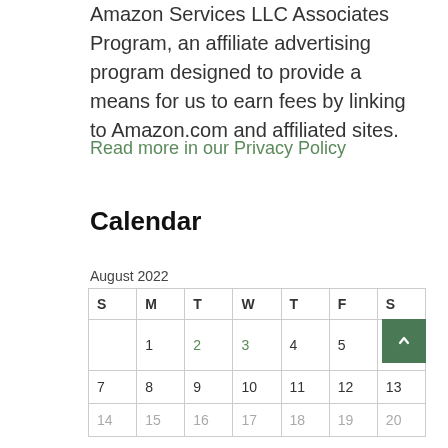Amazon Services LLC Associates Program, an affiliate advertising program designed to provide a means for us to earn fees by linking to Amazon.com and affiliated sites.
Read more in our Privacy Policy
Calendar
August 2022
| S | M | T | W | T | F | S |
| --- | --- | --- | --- | --- | --- | --- |
|  | 1 | 2 | 3 | 4 | 5 | 6 |
| 7 | 8 | 9 | 10 | 11 | 12 | 13 |
| 14 | 15 | 16 | 17 | 18 | 19 | 20 |